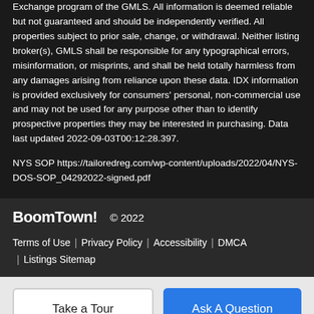Exchange program of the GMLS. All information is deemed reliable but not guaranteed and should be independently verified. All properties subject to prior sale, change, or withdrawal. Neither listing broker(s), GMLS shall be responsible for any typographical errors, misinformation, or misprints, and shall be held totally harmless from any damages arising from reliance upon these data. IDX information is provided exclusively for consumers' personal, non-commercial use and may not be used for any purpose other than to identify prospective properties they may be interested in purchasing. Data last updated 2022-09-03T00:12:28.397.
NYS SOP https://tailoredreg.com/wp-content/uploads/2022/04/NYS-DOS-SOP_04292022-signed.pdf
BoomTown! © 2022 Terms of Use | Privacy Policy | Accessibility | DMCA | Listings Sitemap
Take a Tour  Ask A Question